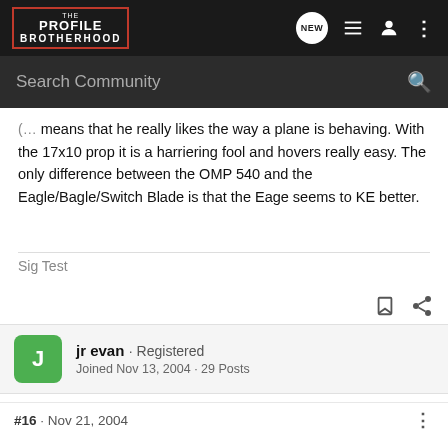The Profile Brotherhood — NEW (search community)
(…) means that he really likes the way a plane is behaving. With the 17x10 prop it is a harriering fool and hovers really easy. The only difference between the OMP 540 and the Eagle/Bagle/Switch Blade is that the Eage seems to KE better.
Sig Test
jr evan · Registered
Joined Nov 13, 2004 · 29 Posts
#16 · Nov 21, 2004